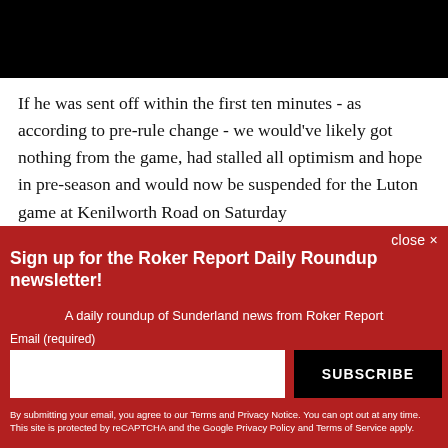[Figure (photo): Black image/video bar at the top of the page]
If he was sent off within the first ten minutes - as according to pre-rule change - we would've likely got nothing from the game, had stalled all optimism and hope in pre-season and would now be suspended for the Luton game at Kenilworth Road on Saturday
close ×
Sign up for the Roker Report Daily Roundup newsletter!
A daily roundup of Sunderland news from Roker Report
Email (required)
SUBSCRIBE
By submitting your email, you agree to our Terms and Privacy Notice. You can opt out at any time. This site is protected by reCAPTCHA and the Google Privacy Policy and Terms of Service apply.